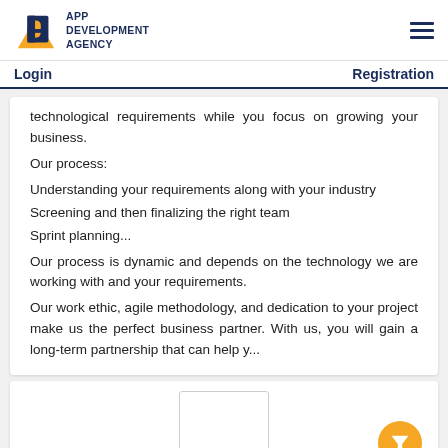[Figure (logo): App Development Agency logo with stylized AD letters and text]
Login    Registration
technological requirements while you focus on growing your business.
Our process:
Understanding your requirements along with your industry
Screening and then finalizing the right team
Sprint planning...
Our process is dynamic and depends on the technology we are working with and your requirements.
Our work ethic, agile methodology, and dedication to your project make us the perfect business partner. With us, you will gain a long-term partnership that can help y...
[Figure (screenshot): Bottom card area with a centered white box outline and an orange circular filter button in the bottom right]